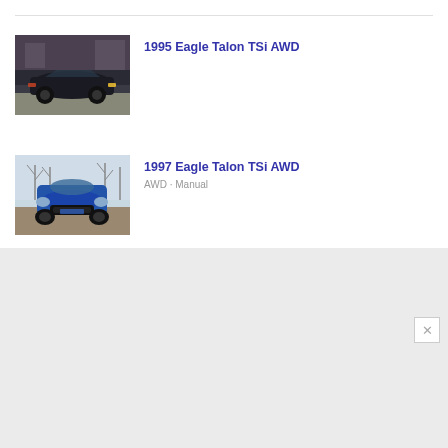[Figure (photo): Photo of a dark colored 1995 Eagle Talon TSi AWD car parked in a driveway]
1995 Eagle Talon TSi AWD
[Figure (photo): Photo of a blue 1997 Eagle Talon TSi AWD car seen from the front]
1997 Eagle Talon TSi AWD
AWD · Manual